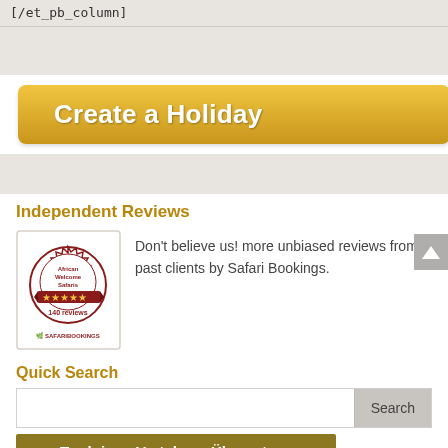[/et_pb_column]
[Figure (illustration): Golden 'Create a Holiday' button with rounded corners and gradient background]
Independent Reviews
[Figure (logo): African Welcome Safaris badge with 5 stars, 140 reviews, Safari Bookings logo]
Don't believe us! more unbiased reviews from past clients by Safari Bookings.
Quick Search
[Figure (screenshot): Search bar with text input and Search button]
Traduire » Vertalen » Übersetzen